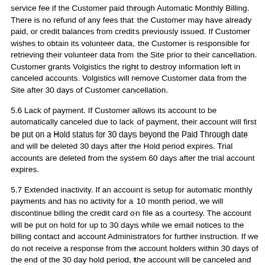service fee if the Customer paid through Automatic Monthly Billing. There is no refund of any fees that the Customer may have already paid, or credit balances from credits previously issued. If Customer wishes to obtain its volunteer data, the Customer is responsible for retrieving their volunteer data from the Site prior to their cancellation. Customer grants Volgistics the right to destroy information left in canceled accounts. Volgistics will remove Customer data from the Site after 30 days of Customer cancellation.
5.6 Lack of payment. If Customer allows its account to be automatically canceled due to lack of payment, their account will first be put on a Hold status for 30 days beyond the Paid Through date and will be deleted 30 days after the Hold period expires. Trial accounts are deleted from the system 60 days after the trial account expires.
5.7 Extended inactivity. If an account is setup for automatic monthly payments and has no activity for a 10 month period, we will discontinue billing the credit card on file as a courtesy. The account will be put on hold for up to 30 days while we email notices to the billing contact and account Administrators for further instruction. If we do not receive a response from the account holders within 30 days of the end of the 30 day hold period, the account will be canceled and the Customer data will be removed from the system without further notification to the Customer.
6.0 CONFIDENTIALITY